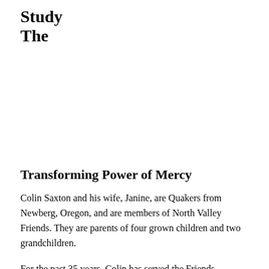Study
The
Transforming Power of Mercy
Colin Saxton and his wife, Janine, are Quakers from Newberg, Oregon, and are members of North Valley Friends. They are parents of four grown children and two grandchildren.
For the past 35 years, Colin has served the Friends community in various roles – pastor, adjunct professor,